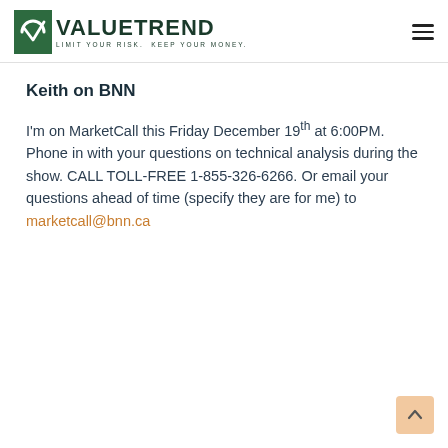ValueTrend — Limit Your Risk. Keep Your Money.
Keith on BNN
I'm on MarketCall this Friday December 19th at 6:00PM. Phone in with your questions on technical analysis during the show. CALL TOLL-FREE 1-855-326-6266. Or email your questions ahead of time (specify they are for me) to marketcall@bnn.ca